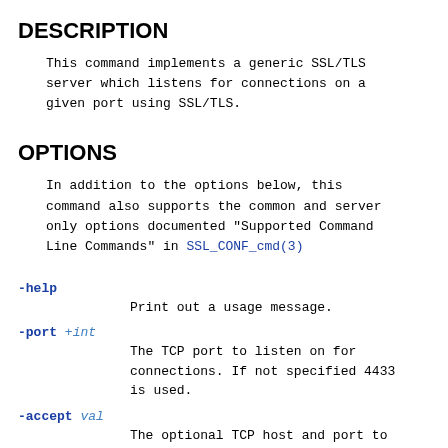DESCRIPTION
This command implements a generic SSL/TLS server which listens for connections on a given port using SSL/TLS.
OPTIONS
In addition to the options below, this command also supports the common and server only options documented "Supported Command Line Commands" in SSL_CONF_cmd(3)
-help
    Print out a usage message.
-port +int
    The TCP port to listen on for connections. If not specified 4433 is used.
-accept val
    The optional TCP host and port to